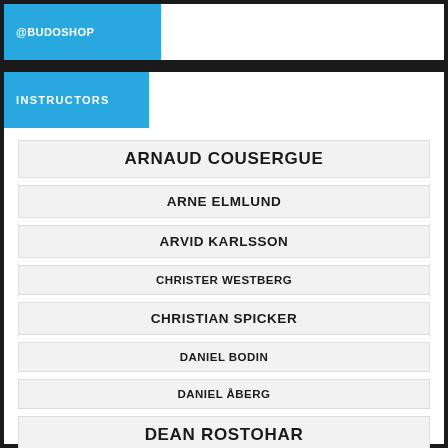@BUDOSHOP
INSTRUCTORS
ARNAUD COUSERGUE
ARNE ELMLUND
ARVID KARLSSON
CHRISTER WESTBERG
CHRISTIAN SPICKER
DANIEL BODIN
DANIEL ÅBERG
DEAN ROSTOHAR
DORON NAVON